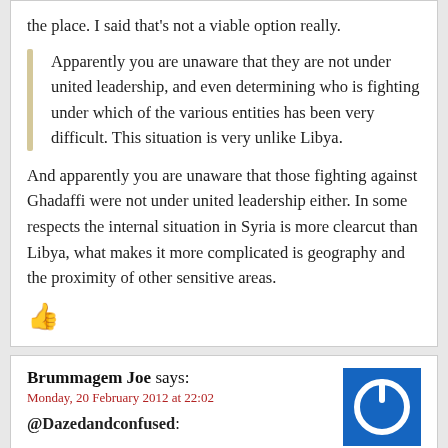the place. I said that’s not a viable option really.
Apparently you are unaware that they are not under united leadership, and even determining who is fighting under which of the various entities has been very difficult. This situation is very unlike Libya.
And apparently you are unaware that those fighting against Ghadaffi were not under united leadership either. In some respects the internal situation in Syria is more clearcut than Libya, what makes it more complicated is geography and the proximity of other sensitive areas.
[Figure (other): Thumbs up icon in dark red/maroon color]
Brummagem Joe says:
Monday, 20 February 2012 at 22:02
@Dazedandconfused:
[Figure (logo): Blue square avatar with white power button icon]